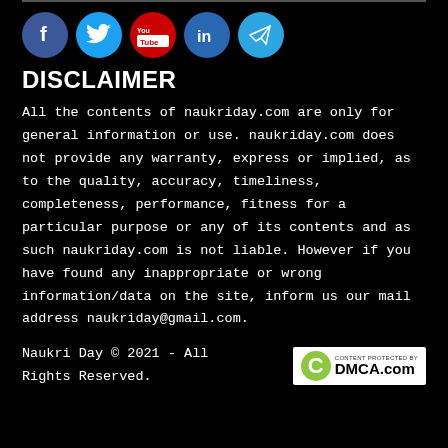[Figure (infographic): Five social media icon circles in a row: Facebook (dark blue, f), Twitter (light blue, bird), YouTube (red, You/Tube), LinkedIn (blue, in), Telegram (light blue, paper plane)]
DISCLAIMER
All the contents of naukriday.com are only for general information or use. naukriday.com does not provide any warranty, express or implied, as to the quality, accuracy, timeliness, completeness, performance, fitness for a particular purpose or any of its contents and as such naukriday.com is not liable. However if you have found any inappropriate or wrong information/data on the site, inform us our mail address naukriday@gmail.com.
Naukri Day © 2021 - All Rights Reserved.
[Figure (logo): DMCA.com content protected badge with green copyright circle and DMCA.com text on white background]